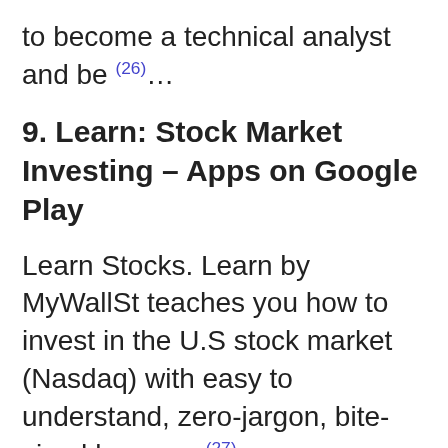to become a technical analyst and be (26)…
9. Learn: Stock Market Investing – Apps on Google Play
Learn Stocks. Learn by MyWallSt teaches you how to invest in the U.S stock market (Nasdaq) with easy to understand, zero-jargon, bite-sized lessons, (27)…
Learning how to read stock charts is very important for stock traders that want to perform technical analysis and